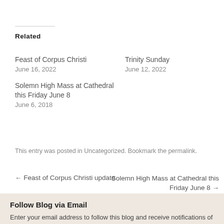Related
Feast of Corpus Christi
June 16, 2022
Trinity Sunday
June 12, 2022
Solemn High Mass at Cathedral this Friday June 8
June 6, 2018
This entry was posted in Uncategorized. Bookmark the permalink.
← Feast of Corpus Christi update
Solemn High Mass at Cathedral this Friday June 8 →
Follow Blog via Email
Enter your email address to follow this blog and receive notifications of new posts by email.
Enter your email address